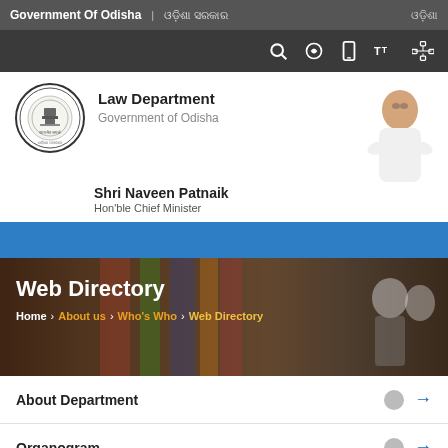Government Of Odisha | ଓଡ଼ିଶା ସରକାର | ଓଡ଼ିଶା
[Figure (screenshot): Website navigation icon bar with search, audio, mobile, text-size, and sitemap icons]
[Figure (logo): Odisha government emblem/seal circular logo]
Law Department
Government of Odisha
Shri Naveen Patnaik
Hon'ble Chief Minister
[Figure (photo): Photo of Shri Naveen Patnaik, Hon'ble Chief Minister]
Web Directory
Home > About us > Who's Who > Web Directory
About Department
Organogram